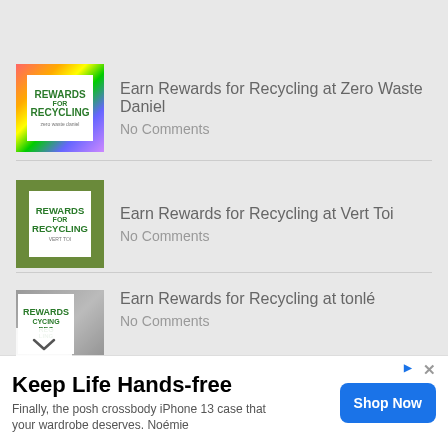[Figure (photo): Partial thumbnail at top showing kids meals promotion image]
Earn Rewards for Recycling at Zero Waste Daniel
No Comments
Earn Rewards for Recycling at Vert Toi
No Comments
Earn Rewards for Recycling at tonlé
No Comments
Keep Life Hands-free
Finally, the posh crossbody iPhone 13 case that your wardrobe deserves. Noémie
Shop Now